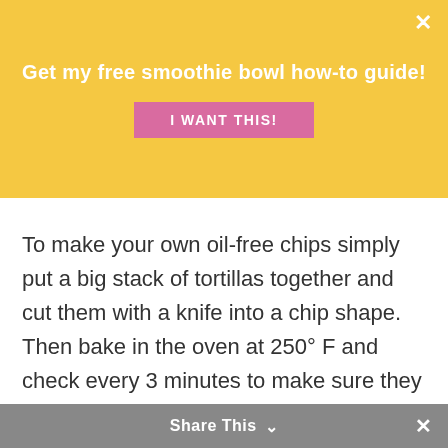Get my free smoothie bowl how-to guide!
I WANT THIS!
To make your own oil-free chips simply put a big stack of tortillas together and cut them with a knife into a chip shape. Then bake in the oven at 250° F and check every 3 minutes to make sure they are crispy but not burt. It should take under 10 mins. Take them out when they look crispy! Every oven behaves differently so don't forget to set a timer and check on them multiple times......i've forgotten a few times and it's depressing.
Share This